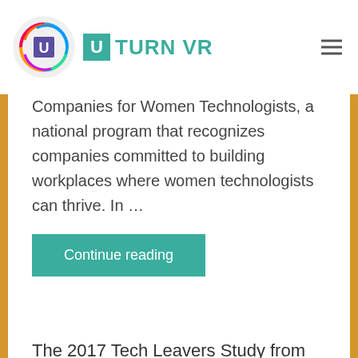U TURN VR
Companies for Women Technologists, a national program that recognizes companies committed to building workplaces where women technologists can thrive. In …
Continue reading
The 2017 Tech Leavers Study from the Kapor